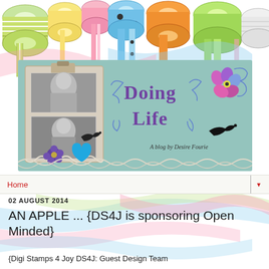[Figure (photo): Colorful ribbon spools at the top of the page — green striped, yellow, pink, blue/teal polka dot, orange, lime green, white ribbons arranged in a row against a white background]
[Figure (illustration): Blog banner for 'Doing Life — A blog by Desire Fourie'. Teal/mint green background with decorative scrapbook elements: a clipboard frame with black-and-white photos of smiling women/girls, decorative flowers (purple glitter, pink/blue), a black bird silhouette, blue sequin heart, purple flower embellishment, swirly text reading 'Doing Life' in purple, cursive subtitle 'A blog by Desire Fourie'. Lacy/scrollwork border at bottom.]
Home
02 AUGUST 2014
AN APPLE ... {DS4J is sponsoring Open Minded}
{Digi Stamps 4 Joy DS4J: Guest Design Team